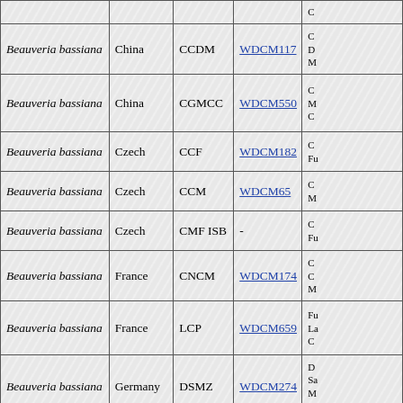| Species | Country | Collection | WDCM | Description |
| --- | --- | --- | --- | --- |
| Beauveria bassiana | China | CCDM | WDCM117 | C D M... |
| Beauveria bassiana | China | CGMCC | WDCM550 | C M C... |
| Beauveria bassiana | Czech | CCF | WDCM182 | C Fu... |
| Beauveria bassiana | Czech | CCM | WDCM65 | C M... |
| Beauveria bassiana | Czech | CMF ISB | - | C Fu... |
| Beauveria bassiana | France | CNCM | WDCM174 | C C M... |
| Beauveria bassiana | France | LCP | WDCM659 | Fu La C... |
| Beauveria bassiana | Germany | DSMZ | WDCM274 | D Sa M Z... |